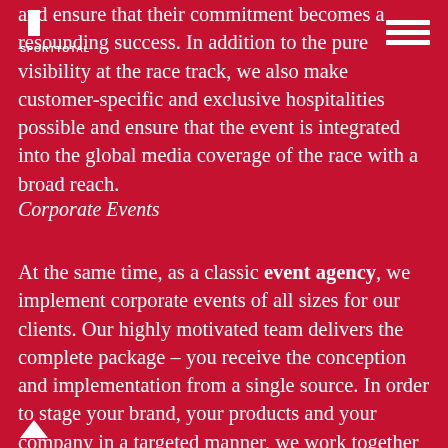[Figure (logo): Sporttotal logo — white angular chevron shape above white text 'SPORTTOTAL']
[Figure (other): Hamburger menu icon — three horizontal white lines]
and ensure that their commitment becomes a resounding success. In addition to the pure visibility at the race track, we also make customer-specific and exclusive hospitalities possible and ensure that the event is integrated into the global media coverage of the race with a broad reach.
Corporate Events
At the same time, as a classic event agency, we implement corporate events of all sizes for our clients. Our highly motivated team delivers the complete package – you receive the conception and implementation from a single source. In order to stage your brand, your products and your company in a targeted manner, we work together with a tried and tested network of specialists and help you achieve your corporate goals.
[Figure (other): Upward scroll arrow icon at bottom left]